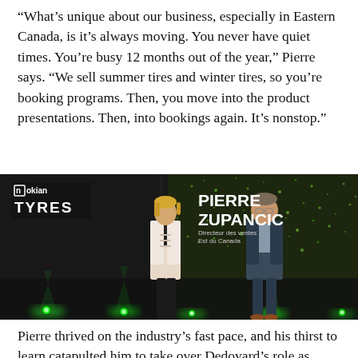“What’s unique about our business, especially in Eastern Canada, is it’s always moving. You never have quiet times. You’re busy 12 months out of the year,” Pierre says. “We sell summer tires and winter tires, so you’re booking programs. Then, you move into the product presentations. Then, into bookings again. It’s nonstop.”
[Figure (photo): Photo of Pierre Zupancic, Director of Sales, Eastern Canada for Nokian Tyres, on a dark stage with green lighting. A female host stands to his left. The Nokian Tyres logo is visible top left, and his name and title overlay appear top right.]
Pierre thrived on the industry’s fast pace, and his thirst to learn catapulted him to take over Dedovard’s role as